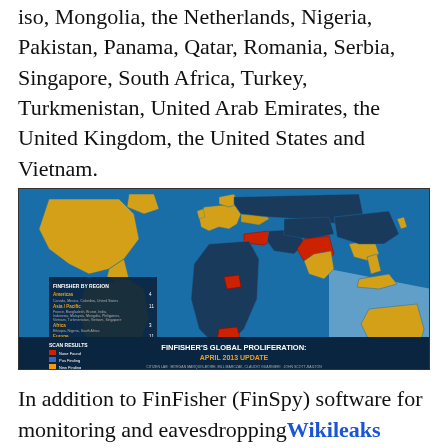iso, Mongolia, the Netherlands, Nigeria, Pakistan, Panama, Qatar, Romania, Serbia, Singapore, South Africa, Turkey, Turkmenistan, United Arab Emirates, the United Kingdom, the United States and Vietnam.
[Figure (map): World map showing FinFisher's global proliferation as of April 2013 update. Countries highlighted in red indicate FinFisher presence. Legend shows FinFisher by region: Americas (4), Asia/Pacific (11), Africa (3), Europe (11), Middle East (4), Total (33). Scan results legend shows None Found, Pos Finding, New Finding. Blue background represents oceans. North/South America, Europe, Africa, Asia, Australia shown. Red-highlighted countries include Nigeria, South Africa, Turkey, Pakistan/India region, and others.]
In addition to FinFisher (FinSpy) software for monitoring and eavesdroppingWikileaks clearly shows that there are numerous and sold for government, police, military, information intelligenceIt is made to.